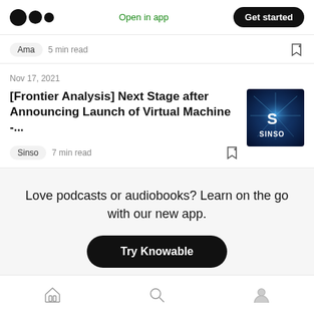Medium logo | Open in app | Get started
Ama  5 min read
Nov 17, 2021
[Frontier Analysis] Next Stage after Announcing Launch of Virtual Machine -...
[Figure (logo): Sinso blue glowing logo thumbnail]
Sinso  7 min read
Love podcasts or audiobooks? Learn on the go with our new app.
Try Knowable
Home | Search | Profile navigation icons